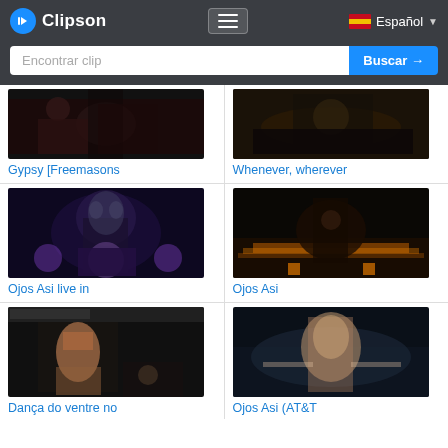Clipson — Español
Encontrar clip
[Figure (screenshot): Thumbnail for Gypsy [Freemasons — dark concert image of performer]
Gypsy [Freemasons
[Figure (screenshot): Thumbnail for Whenever, wherever — dark concert stage image]
Whenever, wherever
[Figure (screenshot): Thumbnail for Ojos Asi live in — stage with purple lights and performer]
Ojos Asi live in
[Figure (screenshot): Thumbnail for Ojos Asi — performer on stage with warm orange lights]
Ojos Asi
[Figure (screenshot): Thumbnail for Dança do ventre no — performer dancing on TV show stage]
Dança do ventre no
[Figure (screenshot): Thumbnail for Ojos Asi (AT&T — performer in concert with outstretched arms]
Ojos Asi (AT&T